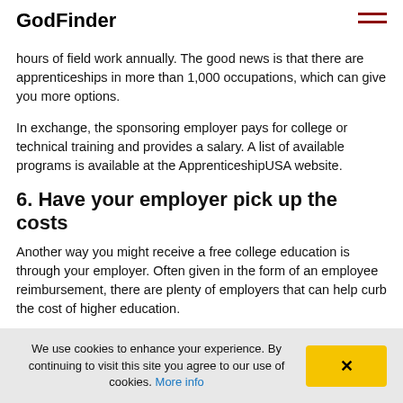GodFinder
hours of field work annually. The good news is that there are apprenticeships in more than 1,000 occupations, which can give you more options.
In exchange, the sponsoring employer pays for college or technical training and provides a salary. A list of available programs is available at the ApprenticeshipUSA website.
6. Have your employer pick up the costs
Another way you might receive a free college education is through your employer. Often given in the form of an employee reimbursement, there are plenty of employers that can help curb the cost of higher education.
7. Be in demand
We use cookies to enhance your experience. By continuing to visit this site you agree to our use of cookies. More info